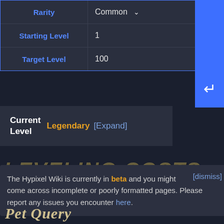| Field | Value |
| --- | --- |
| Rarity | Common ▾ |
| Starting Level | 1 |
| Target Level | 100 |
Current Level   Legendary [Expand]
LEVELING COSTS (partial, obscured)
The Hypixel Wiki is currently in beta and you might come across incomplete or poorly formatted pages. Please report any issues you encounter here. [dismiss]
Pet Query